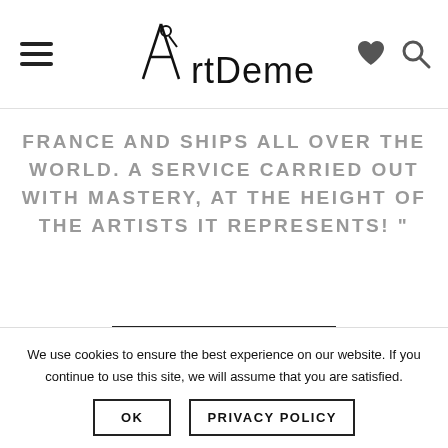ArtDeme
FRANCE AND SHIPS ALL OVER THE WORLD. A SERVICE CARRIED OUT WITH MASTERY, AT THE HEIGHT OF THE ARTISTS IT REPRESENTS! "
VOIR L'ARTICLE
[Figure (other): Carousel navigation dots: one open circle and three filled circles]
We use cookies to ensure the best experience on our website. If you continue to use this site, we will assume that you are satisfied.
OK
PRIVACY POLICY